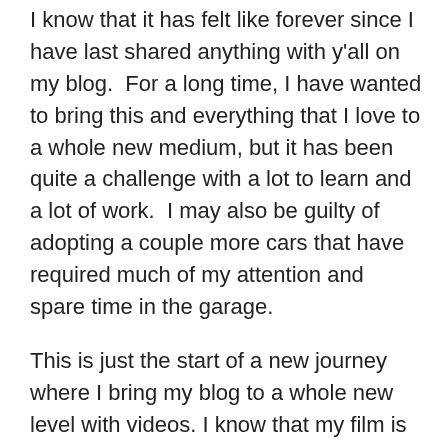I know that it has felt like forever since I have last shared anything with y'all on my blog.  For a long time, I have wanted to bring this and everything that I love to a whole new medium, but it has been quite a challenge with a lot to learn and a lot of work.  I may also be guilty of adopting a couple more cars that have required much of my attention and spare time in the garage.
This is just the start of a new journey where I bring my blog to a whole new level with videos. I know that my film is far from perfect, but I am proud of myself for giving it a go.  It's better than having regrets of opportunities that I never took. I just wish I did this years ago but hey, better late than never.
Go for your dreams and always follow your heart.  Life